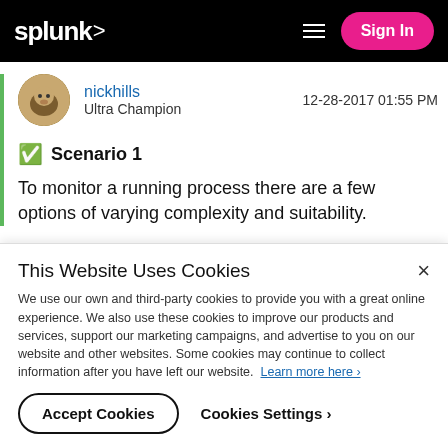splunk> | Sign In
[Figure (photo): Circular avatar image of user nickhills showing an animated character]
nickhills
Ultra Champion
12-28-2017 01:55 PM
Scenario 1
To monitor a running process there are a few options of varying complexity and suitability.
This Website Uses Cookies
We use our own and third-party cookies to provide you with a great online experience. We also use these cookies to improve our products and services, support our marketing campaigns, and advertise to you on our website and other websites. Some cookies may continue to collect information after you have left our website. Learn more here ›
Accept Cookies
Cookies Settings ›